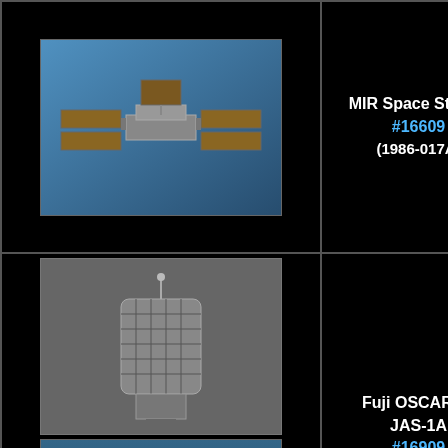[Figure (photo): MIR Space Station photo from orbit]
MIR Space Station #16609 (1986-017A)
Another way to use reflectors. MIR indeed wa back to Earth. The audio F6AGR on Feb. 21st 2001 which were transmitted o
[Figure (photo): Fuji OSCAR 12 satellite photo (black and white)]
[Figure (photo): Fuji OSCAR 12 satellite in orbit photo]
Fuji OSCAR 12 JAS-1A #16909 (1986-061B)
FO-12 (JAS-1A) was deve with system design and i aboard a H-I launcher pi geodetic satellite Ajisai (B inclined by 50 degrees. It transponders with uplink frequencies in 70cm band operated until November
I am searching for sound matthias.bopp@gmx.de